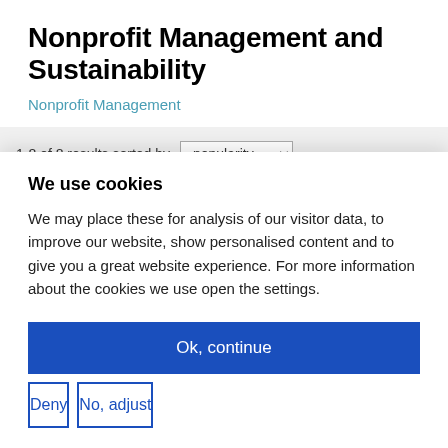Nonprofit Management and Sustainability
Nonprofit Management
1-8 of 8 results sorted by popularity
We use cookies
We may place these for analysis of our visitor data, to improve our website, show personalised content and to give you a great website experience. For more information about the cookies we use open the settings.
Ok, continue
Deny
No, adjust